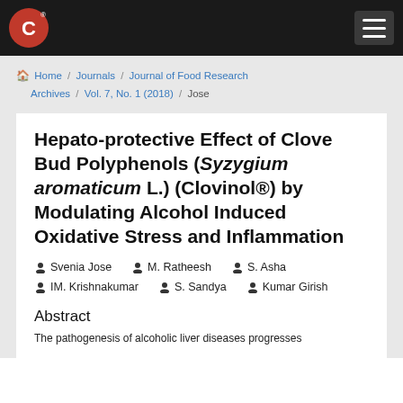Home / Journals / Journal of Food Research / Archives / Vol. 7, No. 1 (2018) / Jose
Hepato-protective Effect of Clove Bud Polyphenols (Syzygium aromaticum L.) (Clovinol®) by Modulating Alcohol Induced Oxidative Stress and Inflammation
Svenia Jose   M. Ratheesh   S. Asha   IM. Krishnakumar   S. Sandya   Kumar Girish
Abstract
The pathogenesis of alcoholic liver diseases progresses